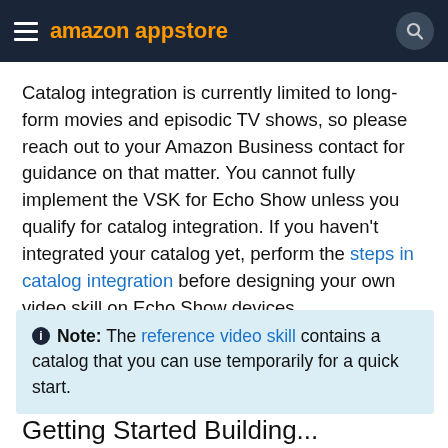amazon appstore
Catalog integration is currently limited to long-form movies and episodic TV shows, so please reach out to your Amazon Business contact for guidance on that matter. You cannot fully implement the VSK for Echo Show unless you qualify for catalog integration. If you haven't integrated your catalog yet, perform the steps in catalog integration before designing your own video skill on Echo Show devices.
Note: The reference video skill contains a catalog that you can use temporarily for a quick start.
Getting Started Building...